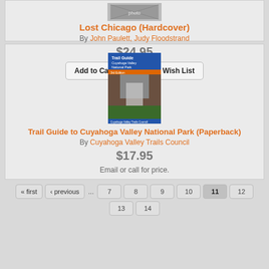[Figure (photo): Book cover thumbnail for Lost Chicago (Hardcover)]
Lost Chicago (Hardcover)
By John Paulett, Judy Floodstrand
$24.95
Add to Cart   Add to Wish List
Backordered
[Figure (photo): Book cover for Trail Guide to Cuyahoga Valley National Park showing waterfall and greenery with blue header banner]
Trail Guide to Cuyahoga Valley National Park (Paperback)
By Cuyahoga Valley Trails Council
$17.95
Email or call for price.
« first  ‹ previous  ...  7  8  9  10  11  12  13  14